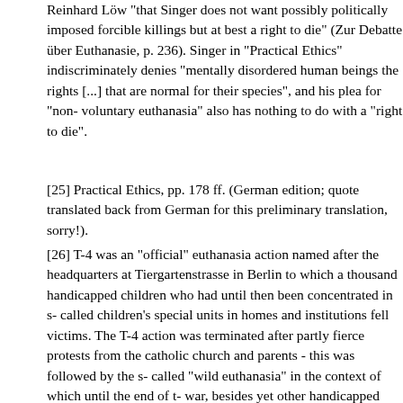Reinhard Löw "that Singer does not want possibly politically imposed forcible killings but at best a right to die" (Zur Debatte über Euthanasie, p. 236). Singer in "Practical Ethics" indiscriminately denies "mentally disordered human beings the rights [...] that are normal for their species", and his plea for "non-voluntary euthanasia" also has nothing to do with a "right to die".
[25] Practical Ethics, pp. 178 ff. (German edition; quote translated back from German for this preliminary translation, sorry!).
[26] T-4 was an "official" euthanasia action named after the headquarters at Tiergartenstrasse in Berlin to which a thousand handicapped children who had until then been concentrated in so-called children's special units in homes and institutions fell victims. The T-4 action was terminated after partly fierce protests from the catholic church and parents - this was followed by the so-called "wild euthanasia" in the context of which until the end of the war, besides yet other handicapped children, also handicapped adults and so-called "mentally disordered Eastern workers" were murdered. A good overview of the development, the extent and the planning of the euthanasia murders can be found in: Hans Walter Schmuhl, "Rassenhygiene, Nationalsozialismus, Euthanasie"...